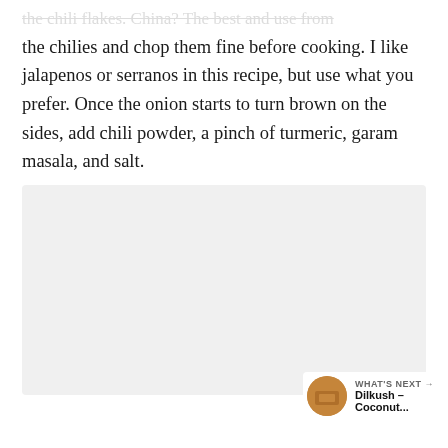the chilies and chop them fine before cooking. I like jalapenos or serranos in this recipe, but use what you prefer. Once the onion starts to turn brown on the sides, add chili powder, a pinch of turmeric, garam masala, and salt.
[Figure (photo): Light gray placeholder image area with three small dots at the bottom center indicating a carousel or slideshow.]
[Figure (infographic): Teal heart button with like count of 140 and a teal share button on the right side of the page.]
[Figure (infographic): What's Next card showing a thumbnail image and text 'Dilkush – Coconut...' with arrow.]